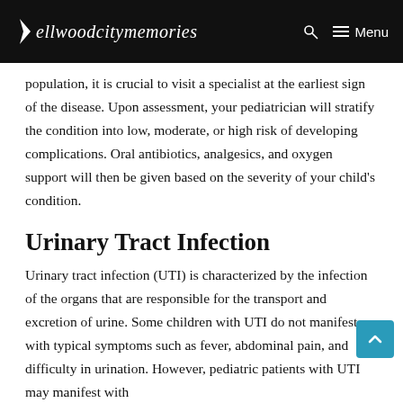ellwoodcitymemories  Menu
population, it is crucial to visit a specialist at the earliest sign of the disease. Upon assessment, your pediatrician will stratify the condition into low, moderate, or high risk of developing complications. Oral antibiotics, analgesics, and oxygen support will then be given based on the severity of your child’s condition.
Urinary Tract Infection
Urinary tract infection (UTI) is characterized by the infection of the organs that are responsible for the transport and excretion of urine. Some children with UTI do not manifest with typical symptoms such as fever, abdominal pain, and difficulty in urination. However, pediatric patients with UTI may manifest with